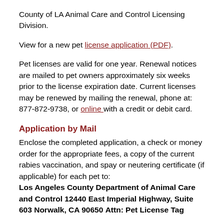County of LA Animal Care and Control Licensing Division.
View for a new pet license application (PDF).
Pet licenses are valid for one year. Renewal notices are mailed to pet owners approximately six weeks prior to the license expiration date. Current licenses may be renewed by mailing the renewal, phone at: 877-872-9738, or online with a credit or debit card.
Application by Mail
Enclose the completed application, a check or money order for the appropriate fees, a copy of the current rabies vaccination, and spay or neutering certificate (if applicable) for each pet to:
Los Angeles County Department of Animal Care and Control
12440 East Imperial Highway, Suite 603
Norwalk, CA 90650
Attn: Pet License Tag
Application Drop Off
You may also drop off your completed application and documents with a check or money order for the appropriate fees